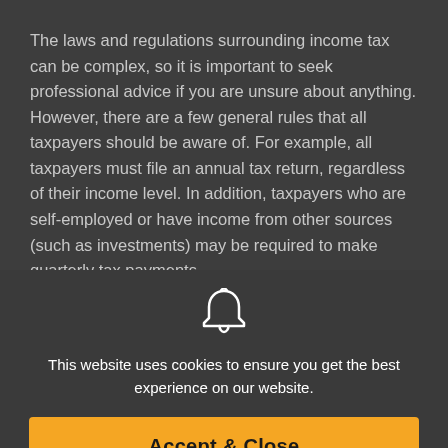The laws and regulations surrounding income tax can be complex, so it is important to seek professional advice if you are unsure about anything. However, there are a few general rules that all taxpayers should be aware of. For example, all taxpayers must file an annual tax return, regardless of their income level. In addition, taxpayers who are self-employed or have income from other sources (such as investments) may be required to make quarterly tax payments.
[Figure (other): Bell/notification icon in white]
This website uses cookies to ensure you get the best experience on our website.
Accept & Close